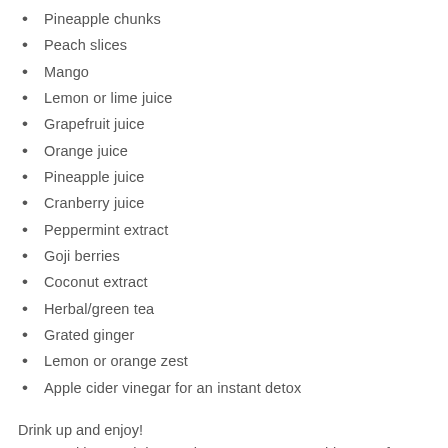Pineapple chunks
Peach slices
Mango
Lemon or lime juice
Grapefruit juice
Orange juice
Pineapple juice
Cranberry juice
Peppermint extract
Goji berries
Coconut extract
Herbal/green tea
Grated ginger
Lemon or orange zest
Apple cider vinegar for an instant detox
Drink up and enjoy!
One Healthy Breakdown: Cheers to Summer – this one's for you!